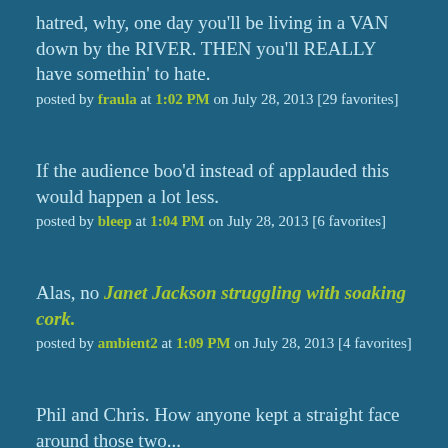hatred, why, one day you'll be living in a VAN down by the RIVER. THEN you'll REALLY have somethin' to hate.
posted by fraula at 1:02 PM on July 28, 2013 [29 favorites]
If the audience boo'd instead of applauded this would happen a lot less.
posted by bleep at 1:04 PM on July 28, 2013 [6 favorites]
Alas, no Janet Jackson struggling with soaking cork.
posted by ambient2 at 1:09 PM on July 28, 2013 [4 favorites]
Phil and Chris. How anyone kept a straight face around those two...
posted by Brocktoon at 1:20 PM on July 28, 2013